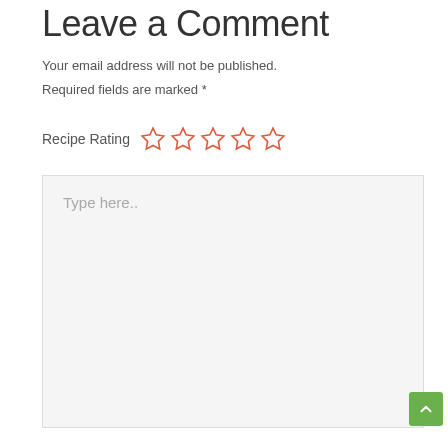Leave a Comment
Your email address will not be published.
Required fields are marked *
Recipe Rating ☆☆☆☆☆
[Figure (other): Comment text area with placeholder text 'Type here..' and a resize handle at bottom right]
[Figure (other): Green back-to-top button with upward chevron arrow]